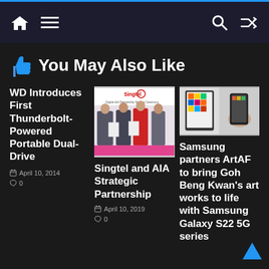Navigation bar with home, menu, search, and shuffle icons
👍 You May Also Like
WD Introduces First Thunderbolt-Powered Portable Dual-Drive
April 10, 2014
0
[Figure (photo): Singtel and AIA Strategic Partnership signing ceremony photo with four people holding certificates]
Singtel and AIA Strategic Partnership
April 10, 2019
0
[Figure (photo): Samsung Galaxy S22 with colorful artwork displayed on screen, hands holding device]
Samsung partners ArtAF to bring Goh Beng Kwan's art works to life with Samsung Galaxy S22 5G series